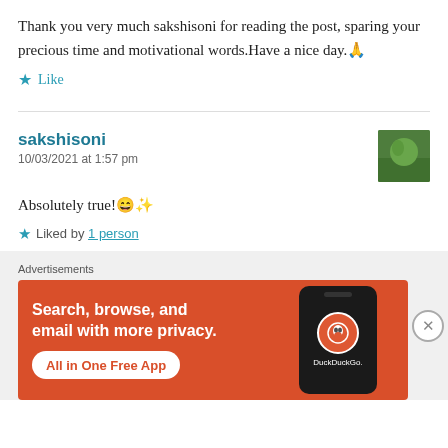Thank you very much sakshisoni for reading the post, sparing your precious time and motivational words.Have a nice day.🙏
★ Like
sakshisoni
10/03/2021 at 1:57 pm
Absolutely true! 😄 ✨
★ Liked by 1 person
[Figure (infographic): DuckDuckGo advertisement banner: orange background with text 'Search, browse, and email with more privacy. All in One Free App' and a stylized smartphone showing the DuckDuckGo logo]
Advertisements